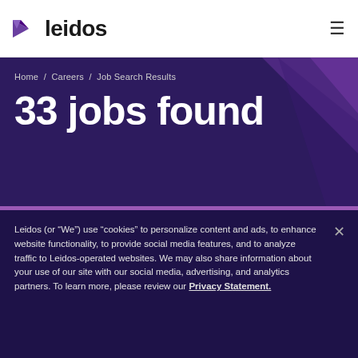leidos [logo] [hamburger menu]
Home / Careers / Job Search Results
33 jobs found
Leidos (or “We”) use “cookies” to personalize content and ads, to enhance website functionality, to provide social media features, and to analyze traffic to Leidos-operated websites. We may also share information about your use of our site with our social media, advertising, and analytics partners. To learn more, please review our Privacy Statement.
Set your cookie preferences